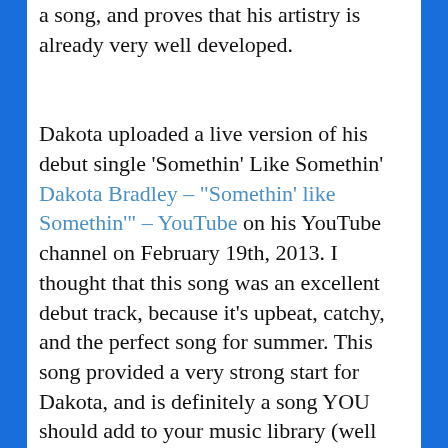a song, and proves that his artistry is already very well developed.
Dakota uploaded a live version of his debut single 'Somethin' Like Somethin' Dakota Bradley – "Somethin' like Somethin'" – YouTube on his YouTube channel on February 19th, 2013. I thought that this song was an excellent debut track, because it's upbeat, catchy, and the perfect song for summer. This song provided a very strong start for Dakota, and is definitely a song YOU should add to your music library (well finish reading the blog, and then hop over to iTunes and buy the song. Ok? Ok!). Tim McGraw (who the track was originally intended for), gave the following statement to 'forthecountryrecord.com in 2013', "Dakota is the real deal. He is a great young artist who defies the trends and lives for his music.  His voice is unique